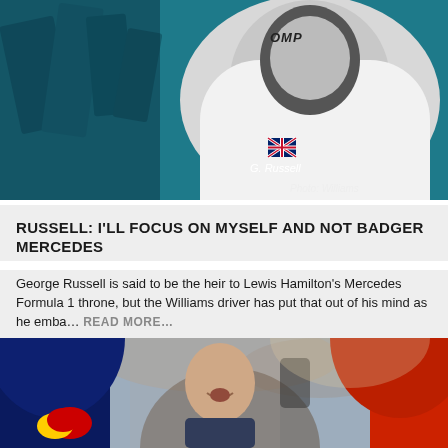[Figure (photo): George Russell in a white OMP racing suit with British flag badge, standing against a teal/blue background. Label 'G. Russell' and 'Photo: Williams' visible.]
RUSSELL: I'LL FOCUS ON MYSELF AND NOT BADGER MERCEDES
George Russell is said to be the heir to Lewis Hamilton's Mercedes Formula 1 throne, but the Williams driver has put that out of his mind as he emba…  READ MORE…
[Figure (photo): An older man (Jean Todt) smiling and talking with people in Red Bull and Ferrari race suits at a Formula 1 paddock event.]